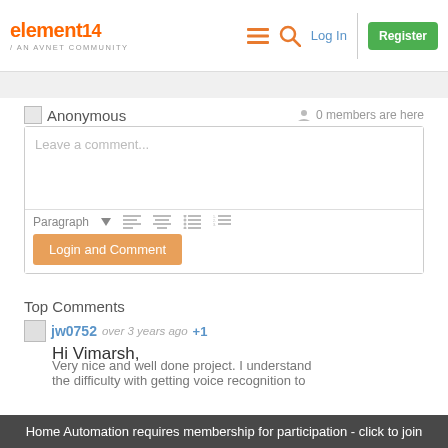element14 / AN AVNET COMMUNITY | Log In | Register
Anonymous  0 members are here
Leave a comment...
Paragraph  Login and Comment
Top Comments
jw0752  over 3 years ago  +1
Hi Vimarsh,
Very nice and well done project. I understand the difficulty with getting voice recognition to
Home Automation requires membership for participation - click to join